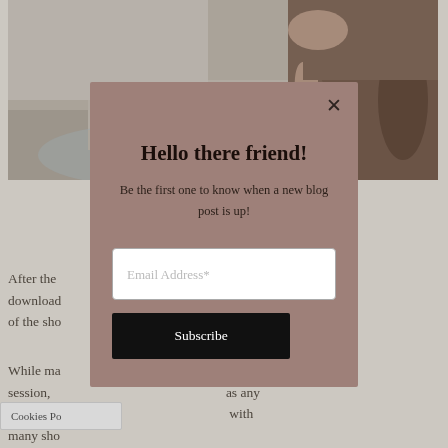[Figure (photo): A person with red hair sitting near a fountain or stone surface, wearing a brown outfit, cropped at the top of the page behind a modal overlay.]
After the                                                                                  an download                                                                                ss days of the sho
While ma                                                                                rom the session,                                                                                as any with clos                                                                                with many sho
Hello there friend!
Be the first one to know when a new blog post is up!
Email Address*
Subscribe
Cookies Po